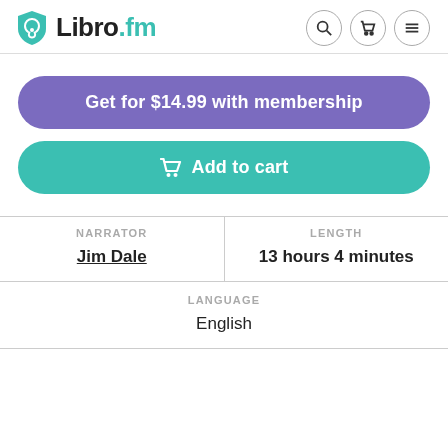Libro.fm
Get for $14.99 with membership
Add to cart
| NARRATOR | LENGTH |
| --- | --- |
| Jim Dale | 13 hours 4 minutes |
| LANGUAGE |
| --- |
| English |